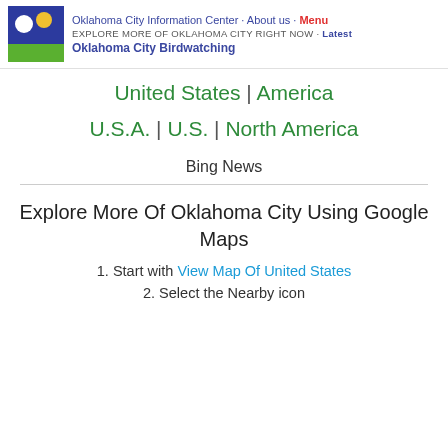Oklahoma City Information Center · About us · Menu | EXPLORE MORE OF OKLAHOMA CITY RIGHT NOW · Latest | Oklahoma City Birdwatching
United States | America
U.S.A. | U.S. | North America
Bing News
Explore More Of Oklahoma City Using Google Maps
1. Start with View Map Of United States
2. Select the Nearby icon